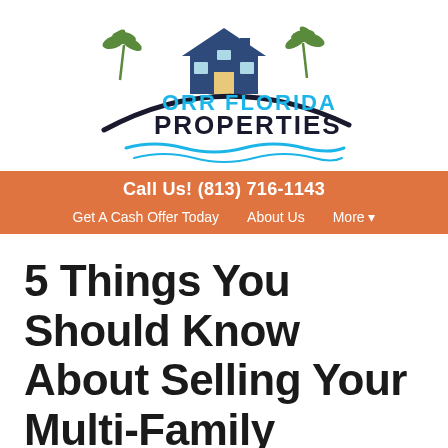[Figure (logo): Orr Florida Properties logo with palm trees, house, swoosh, and wave lines]
Call Us! (813) 716-1143  Get A Cash Offer Today   About Us   More ▾
5 Things You Should Know About Selling Your Multi-Family Property To a Tampa Investor